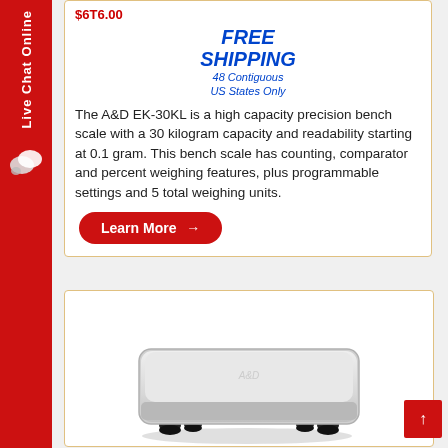$6T6.00
FREE SHIPPING 48 Contiguous US States Only
The A&D EK-30KL is a high capacity precision bench scale with a 30 kilogram capacity and readability starting at 0.1 gram. This bench scale has counting, comparator and percent weighing features, plus programmable settings and 5 total weighing units.
Learn More →
Live Chat Online
[Figure (photo): A&D EK-30KL precision bench scale with silver rectangular platform and black rubber feet]
↑